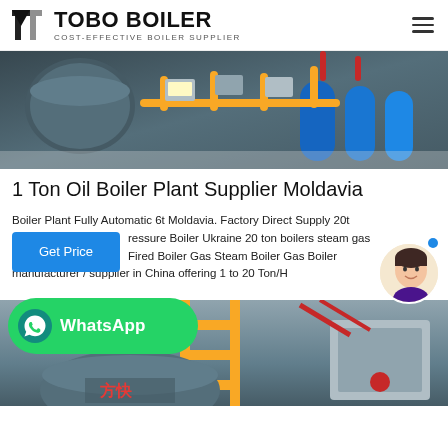[Figure (logo): TOBO BOILER logo with geometric T icon and tagline COST-EFFECTIVE BOILER SUPPLIER]
[Figure (photo): Industrial boiler plant interior showing multiple blue and grey boilers with yellow pipes and control panels]
1 Ton Oil Boiler Plant Supplier Moldavia
Boiler Plant Fully Automatic 6t Moldavia. Factory Direct Supply 20t ressure Boiler Ukraine 20 ton boilers steam gas Fired Boiler Gas Steam Boiler Gas Boiler manufacturer / supplier in China offering 1 to 20 Ton/H
[Figure (photo): Industrial boiler equipment with yellow railing and red components]
[Figure (infographic): WhatsApp green badge button with phone icon and WhatsApp text]